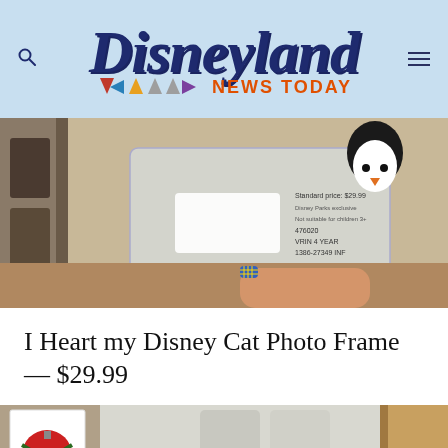[Figure (logo): Disneyland News Today logo with colorful triangles]
[Figure (photo): Hand holding a clear plastic bag containing I Heart my Disney Cat Photo Frame product, with black cat ears visible at top]
I Heart my Disney Cat Photo Frame — $29.99
[Figure (photo): Store shelf with Disney merchandise, text MORE DISNEY visible at bottom]
Twitter Facebook Messenger